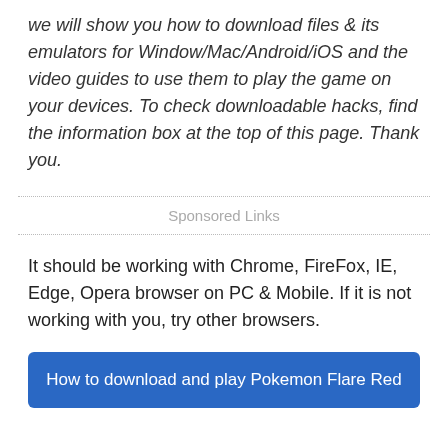we will show you how to download files & its emulators for Window/Mac/Android/iOS and the video guides to use them to play the game on your devices. To check downloadable hacks, find the information box at the top of this page. Thank you.
Sponsored Links
It should be working with Chrome, FireFox, IE, Edge, Opera browser on PC & Mobile. If it is not working with you, try other browsers.
How to download and play Pokemon Flare Red